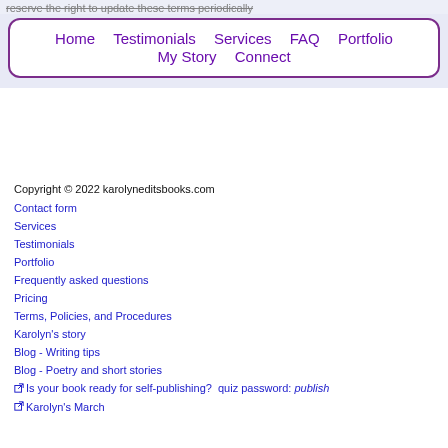reserve the right to update these terms periodically
Home  Testimonials  Services  FAQ  Portfolio  My Story  Connect
Copyright © 2022 karolyneditsbooks.com
Contact form
Services
Testimonials
Portfolio
Frequently asked questions
Pricing
Terms, Policies, and Procedures
Karolyn's story
Blog - Writing tips
Blog - Poetry and short stories
Is your book ready for self-publishing?  quiz password: publish
Karolyn's March